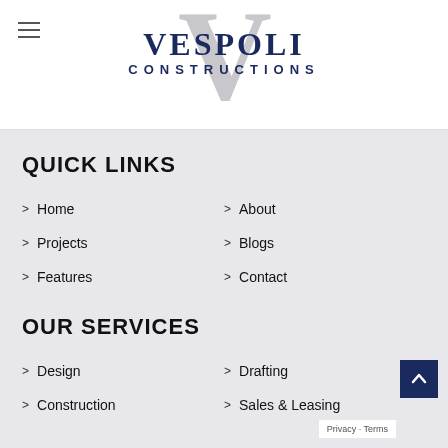[Figure (logo): Vespoli Constructions logo with large V watermark and text VESPOLI CONSTRUCTIONS]
QUICK LINKS
Home
About
Projects
Blogs
Features
Contact
OUR SERVICES
Design
Drafting
Construction
Sales & Leasing